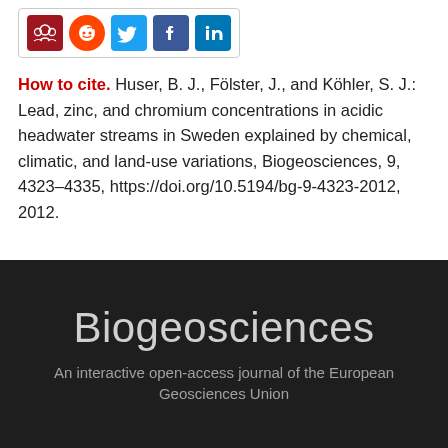[Figure (other): Social sharing icons: Mendeley, Reddit, Twitter, Facebook, LinkedIn]
How to cite. Huser, B. J., Fölster, J., and Köhler, S. J.: Lead, zinc, and chromium concentrations in acidic headwater streams in Sweden explained by chemical, climatic, and land-use variations, Biogeosciences, 9, 4323–4335, https://doi.org/10.5194/bg-9-4323-2012, 2012.
Biogeosciences
An interactive open-access journal of the European Geosciences Union